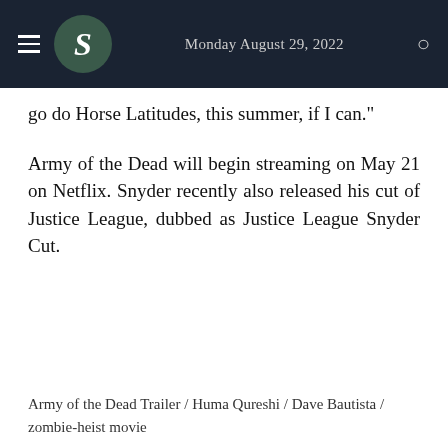Monday August 29, 2022
go do Horse Latitudes, this summer, if I can."
Army of the Dead will begin streaming on May 21 on Netflix. Snyder recently also released his cut of Justice League, dubbed as Justice League Snyder Cut.
Army of the Dead Trailer / Huma Qureshi / Dave Bautista / zombie-heist movie